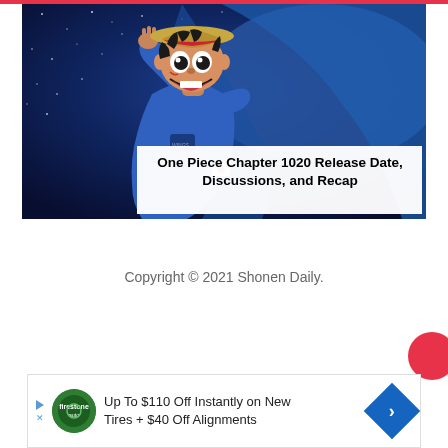[Figure (illustration): Manga-style illustration of Monkey D. Luffy from One Piece wearing a blue spacesuit/jumpsuit and his signature straw hat, saluting against a dark blue starry night sky background. White text overlay reads 'One Piece Chapter 1020 Release Date, Discussions, and Recap']
One Piece Chapter 1020 Release Date, Discussions, and Recap
Copyright © 2021 Shonen Daily.
[Figure (other): Advertisement banner: 'Up To $110 Off Instantly on New Tires + $40 Off Alignments' with a Firestone auto care logo circle and a blue diamond arrow icon]